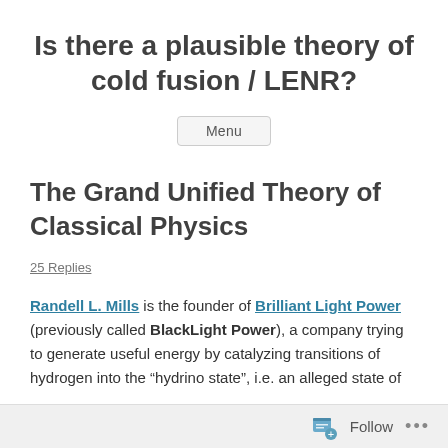Is there a plausible theory of cold fusion / LENR?
The Grand Unified Theory of Classical Physics
25 Replies
Randell L. Mills is the founder of Brilliant Light Power (previously called BlackLight Power), a company trying to generate useful energy by catalyzing transitions of hydrogen into the “hydrino state”, i.e. an alleged state of
Follow ...